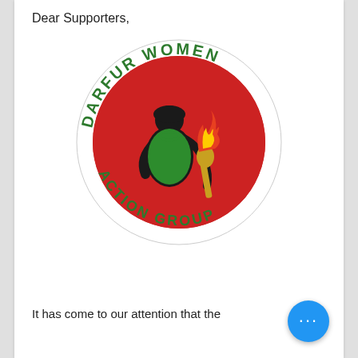Dear Supporters,
[Figure (logo): Circular logo of the Darfur Women Action Group. A dark silhouetted woman in a green outfit holds a torch with red and yellow flame on a red and white circular background. Around the circle in green text: 'DARFUR WOMEN' at the top and 'ACTION GROUP' at the bottom.]
It has come to our attention that the